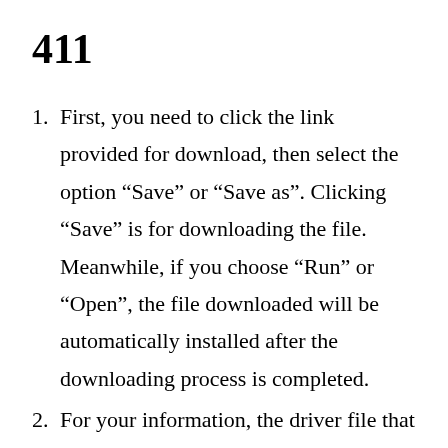411
First, you need to click the link provided for download, then select the option “Save” or “Save as”. Clicking “Save” is for downloading the file. Meanwhile, if you choose “Run” or “Open”, the file downloaded will be automatically installed after the downloading process is completed.
For your information, the driver file that you download will be saved in a certain